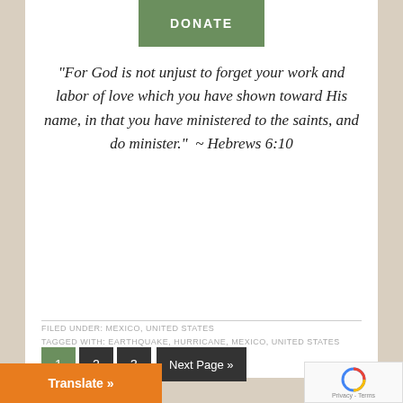[Figure (other): DONATE button in olive/green color]
“For God is not unjust to forget your work and labor of love which you have shown toward His name, in that you have ministered to the saints, and do minister.”  ~ Hebrews 6:10
FILED UNDER: MEXICO, UNITED STATES
TAGGED WITH: EARTHQUAKE, HURRICANE, MEXICO, UNITED STATES
1  2  3  Next Page »
Translate »
Privacy - Terms